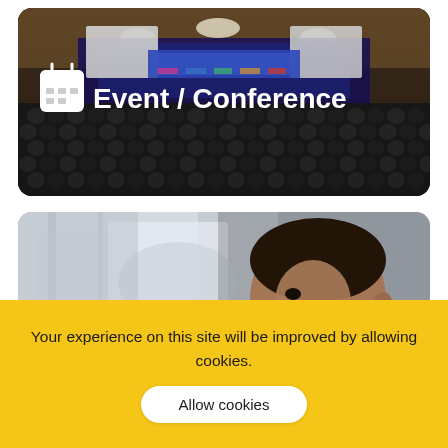[Figure (photo): A large conference hall/auditorium with rows of audience seats, a stage with projection screens and colorful lighting, viewed from the back. Overlaid with a calendar icon and the text 'Event / Conference' in white bold font.]
[Figure (photo): A smiling bearded man in a blue patterned shirt, photographed from the side near a window with blurred background, suggesting a professional or travel setting.]
Your experience on this site will be improved by allowing cookies.
Allow cookies